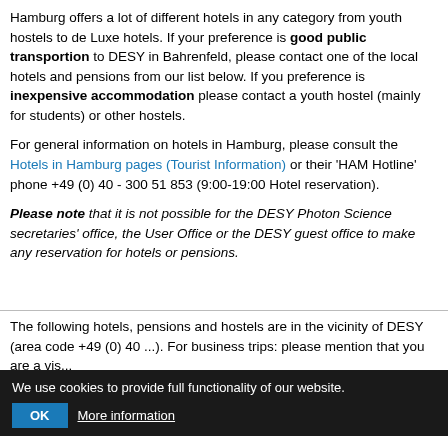Hamburg offers a lot of different hotels in any category from youth hostels to de Luxe hotels. If your preference is good public transportion to DESY in Bahrenfeld, please contact one of the local hotels and pensions from our list below. If you preference is inexpensive accommodation please contact a youth hostel (mainly for students) or other hostels.
For general information on hotels in Hamburg, please consult the Hotels in Hamburg pages (Tourist Information) or their 'HAM Hotline' phone +49 (0) 40 - 300 51 853 (9:00-19:00 Hotel reservation).
Please note that it is not possible for the DESY Photon Science secretaries' office, the User Office or the DESY guest office to make any reservation for hotels or pensions.
The following hotels, pensions and hostels are in the vicinity of DESY (area code +49 (0) 40 ...). For business trips: please mention that you are a vis...
LIST OF HOTELS 2017    (364KB)
We use cookies to provide full functionality of our website.